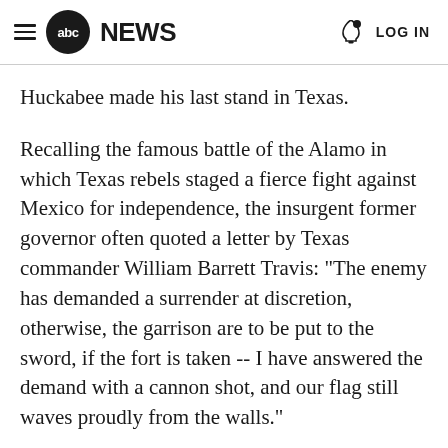abc NEWS  LOG IN
Huckabee made his last stand in Texas.
Recalling the famous battle of the Alamo in which Texas rebels staged a fierce fight against Mexico for independence, the insurgent former governor often quoted a letter by Texas commander William Barrett Travis: "The enemy has demanded a surrender at discretion, otherwise, the garrison are to be put to the sword, if the fort is taken -- I have answered the demand with a cannon shot, and our flag still waves proudly from the walls."
Huckabee spent a few arduous days flying all